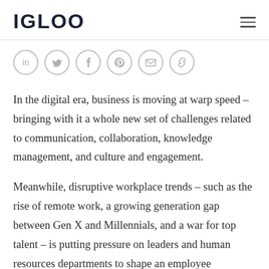IGLOO
[Figure (other): Social sharing icons: LinkedIn, Twitter, Facebook, Pinterest, Email, Link]
In the digital era, business is moving at warp speed – bringing with it a whole new set of challenges related to communication, collaboration, knowledge management, and culture and engagement.
Meanwhile, disruptive workplace trends – such as the rise of remote work, a growing generation gap between Gen X and Millennials, and a war for top talent – is putting pressure on leaders and human resources departments to shape an employee experience that